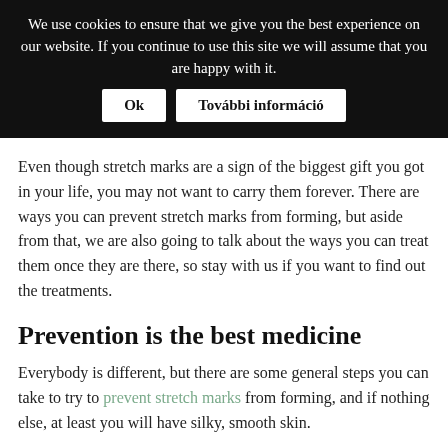We use cookies to ensure that we give you the best experience on our website. If you continue to use this site we will assume that you are happy with it.  Ok  További információ
Even though stretch marks are a sign of the biggest gift you got in your life, you may not want to carry them forever. There are ways you can prevent stretch marks from forming, but aside from that, we are also going to talk about the ways you can treat them once they are there, so stay with us if you want to find out the treatments.
Prevention is the best medicine
Everybody is different, but there are some general steps you can take to try to prevent stretch marks from forming, and if nothing else, at least you will have silky, smooth skin.
Stretch marks happen because your belly grows, and the skin stretches, causing it to tear. This is why it is